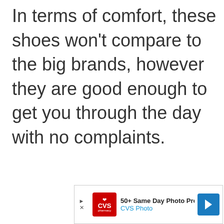In terms of comfort, these shoes won't compare to the big brands, however they are good enough to get you through the day with no complaints.
[Figure (other): CVS Pharmacy advertisement banner: '50+ Same Day Photo Products' with CVS Photo logo and navigation arrow]